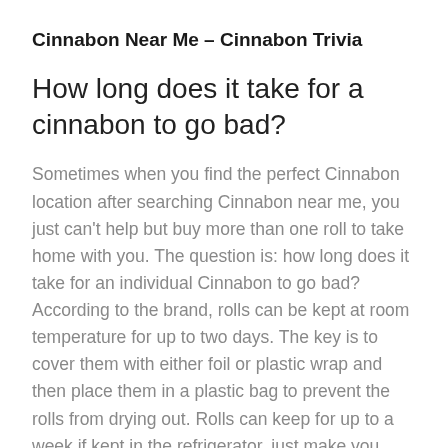Cinnabon Near Me – Cinnabon Trivia
How long does it take for a cinnabon to go bad?
Sometimes when you find the perfect Cinnabon location after searching Cinnabon near me, you just can't help but buy more than one roll to take home with you. The question is: how long does it take for an individual Cinnabon to go bad? According to the brand, rolls can be kept at room temperature for up to two days. The key is to cover them with either foil or plastic wrap and then place them in a plastic bag to prevent the rolls from drying out. Rolls can keep for up to a week if kept in the refrigerator, just make you keep them covered with foil and placed in a plastic bag.